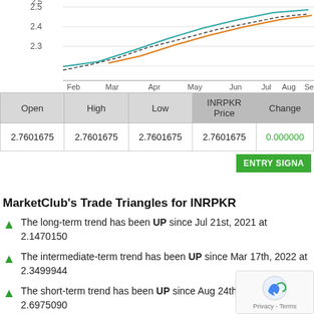[Figure (line-chart): Line chart showing INRPKR price from February to September with multiple colored lines (teal, orange, dashed black). Y-axis ranges approximately 2.3 to 2.5+. X-axis shows months: Feb, Mar, Apr, May, Jun, Jul, Aug, Sep.]
| Open | High | Low | INRPKR Price | Change |
| --- | --- | --- | --- | --- |
| 2.7601675 | 2.7601675 | 2.7601675 | 2.7601675 | 0.000000 |
MarketClub's Trade Triangles for INRPKR
The long-term trend has been UP since Jul 21st, 2021 at 2.1470150
The intermediate-term trend has been UP since Mar 17th, 2022 at 2.3499944
The short-term trend has been UP since Aug 24th, 2022 at 2.6975090
Smart Scan Analysis for INRPKR
Based on our trend formula, INRPKR is rated as a +80 on a scale from -100 (Strong Downtrend) to +100 (Strong